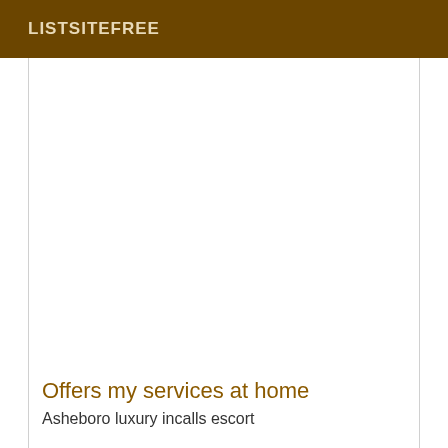LISTSITEFREE
Offers my services at home
Asheboro luxury incalls escort